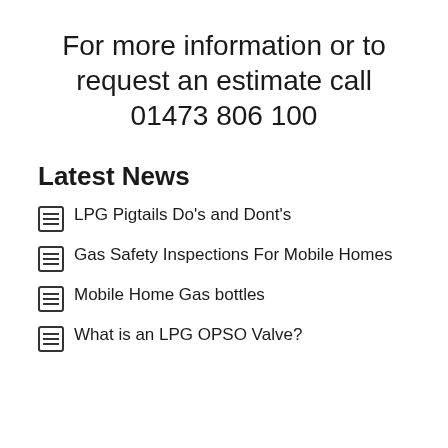For more information or to request an estimate call 01473 806 100
Latest News
LPG Pigtails Do's and Dont's
Gas Safety Inspections For Mobile Homes
Mobile Home Gas bottles
What is an LPG OPSO Valve?